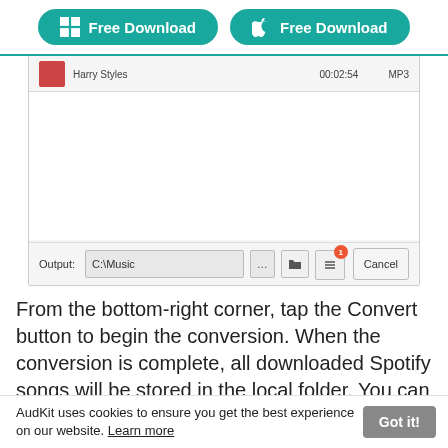[Figure (screenshot): Two teal 'Free Download' buttons (Windows and Apple logos) on a banner, followed by a screenshot of a music converter application showing a Harry Styles song entry with duration 00:02:54 and MP3 format, an output path C:\Music, and a Cancel button.]
From the bottom-right corner, tap the Convert button to begin the conversion. When the conversion is complete, all downloaded Spotify songs will be stored in the local folder. You can
AudKit uses cookies to ensure you get the best experience on our website. Learn more  Got it!